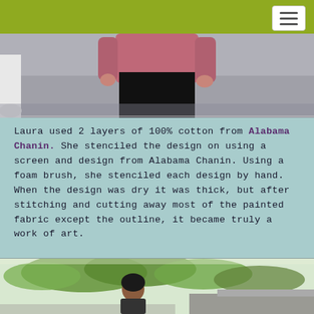[Figure (photo): Top portion of a photo showing a person wearing a dark pink/mauve top and black pants, standing on a gray floor. Only the torso and legs are visible.]
Laura used 2 layers of 100% cotton from Alabama Chanin. She stenciled the design on using a screen and design from Alabama Chanin. Using a foam brush, she stenciled each design by hand. When the design was dry it was thick, but after stitching and cutting away most of the painted fabric except the outline, it became truly a work of art.
[Figure (photo): Bottom portion showing a person with dark hair standing outdoors near trees and a building roof.]